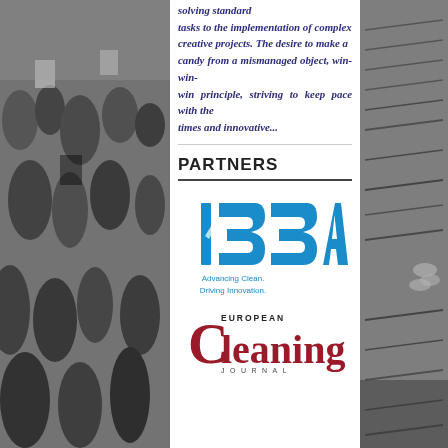[Figure (photo): Black and white photo of a crowd of people at an event, left side panel]
solving standard tasks to the implementation of complex creative projects. The desire to make a candy from a mismanaged object, win-win-win principle, striving to keep pace with the times and innovative...
PARTNERS
[Figure (logo): ISSA logo - Advancing Clean. Driving Innovation.]
[Figure (logo): European Cleaning Journal logo]
[Figure (photo): Black and white photo of newspapers/magazines, right side panel]